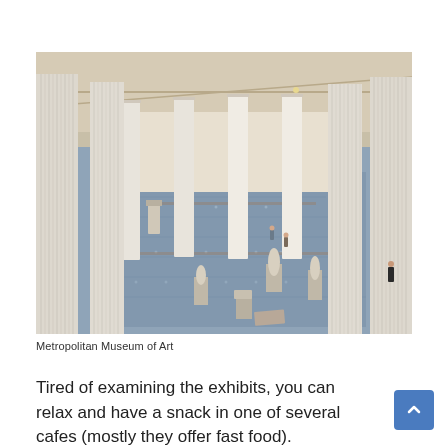[Figure (photo): Interior of the Metropolitan Museum of Art showing a large hall with tall white fluted columns, a blue patterned floor, and numerous classical sculptures on pedestals. Visitors can be seen walking among the exhibits. View is from above looking down into the gallery.]
Metropolitan Museum of Art
Tired of examining the exhibits, you can relax and have a snack in one of several cafes (mostly they offer fast food).